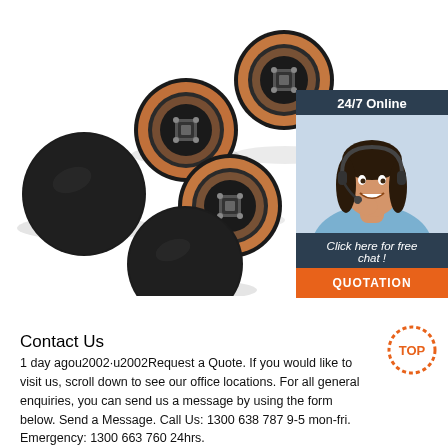[Figure (photo): Product photo showing five RFID coin tags/discs on white background — two plain black discs and three showing copper coil/antenna on back side]
[Figure (infographic): 24/7 Online chat widget with dark blue/slate background, photo of smiling female customer service agent with headset, text 'Click here for free chat!' and orange 'QUOTATION' button]
Contact Us
1 day agou2002·u2002Request a Quote. If you would like to visit us, scroll down to see our office locations. For all general enquiries, you can send us a message by using the form below. Send a Message. Call Us: 1300 638 787 9-5 mon-fri. Emergency: 1300 663 760 24hrs.
[Figure (logo): Orange dotted circle with 'TOP' text inside — back-to-top button]